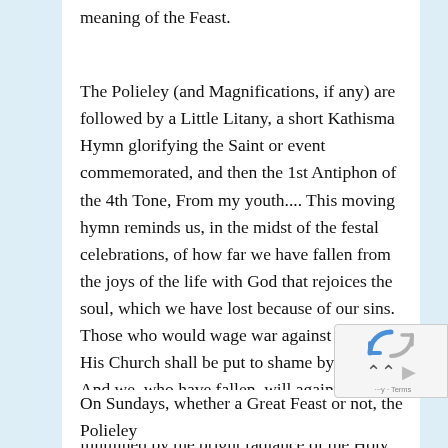meaning of the Feast.
The Polieley (and Magnifications, if any) are followed by a Little Litany, a short Kathisma Hymn glorifying the Saint or event commemorated, and then the 1st Antiphon of the 4th Tone, From my youth.... This moving hymn reminds us, in the midst of the festal celebrations, of how far we have fallen from the joys of the life with God that rejoices the soul, which we have lost because of our sins. Those who would wage war against God and His Church shall be put to shame by the Lord. And we, who have fallen, will again be enlivened by the Holy Spirit, be exalted and illumined by the bright radiance of the Holy Trinity.
On Sundays, whether a Great Feast or not, the Polieley...